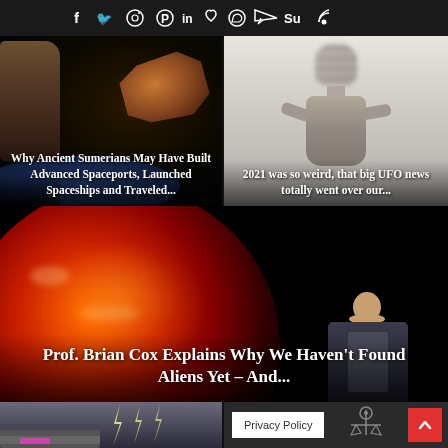Social media icons: f [facebook] [twitter] [instagram] [pinterest] in [linkedin] [heart] [whatsapp] [telegram] [stumbleupon] [rss]
[Figure (photo): Space scene with ancient Sumerian-style artifact/spaceship object floating above Earth with stars in background]
Why Ancient Sumerians May Have Built Advanced Spaceports, Launched Spaceships and Traveled...
[Figure (photo): Blurred/pixelated humanoid alien figure with outstretched arms against white/grey background]
2021 was so weird, that big UFO news totally went over our...
[Figure (photo): Large red fiery star/sun with a person (Prof. Brian Cox) speaking in front of it]
Prof. Brian Cox Explains Why We Haven't Found Aliens Yet – And...
[Figure (photo): Dark sci-fi scene with lightning bolts, partial view at bottom left]
Privacy Policy
[Figure (illustration): Small spacecraft/robot illustration at bottom right]